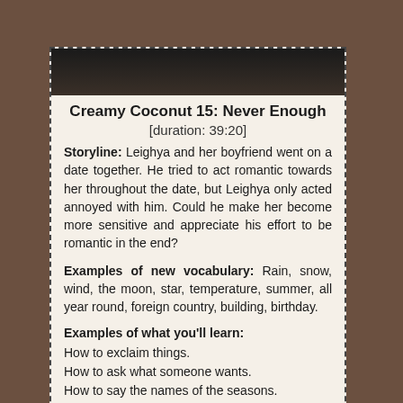[Figure (illustration): Illustrated image of characters in a dark/rainy scene at the top of the card]
Creamy Coconut 15: Never Enough
[duration: 39:20]
Storyline: Leighya and her boyfriend went on a date together. He tried to act romantic towards her throughout the date, but Leighya only acted annoyed with him. Could he make her become more sensitive and appreciate his effort to be romantic in the end?
Examples of new vocabulary: Rain, snow, wind, the moon, star, temperature, summer, all year round, foreign country, building, birthday.
Examples of what you'll learn:
How to exclaim things.
How to ask what someone wants.
How to say the names of the seasons.
How to specify how you want something to be.